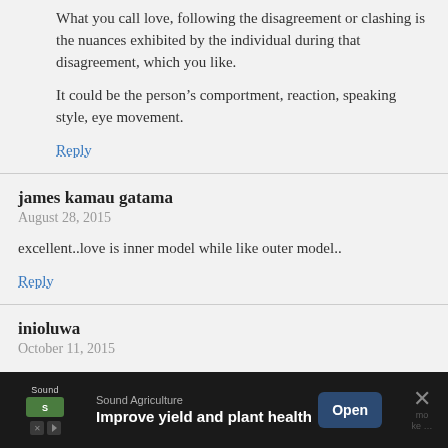What you call love, following the disagreement or clashing is the nuances exhibited by the individual during that disagreement, which you like.
It could be the person’s comportment, reaction, speaking style, eye movement.
Reply
james kamau gatama
August 28, 2015
excellent..love is inner model while like outer model..
Reply
inioluwa
October 11, 2015
[Figure (screenshot): Mobile advertisement banner for Sound Agriculture: 'Improve yield and plant health' with Open button and close X button]